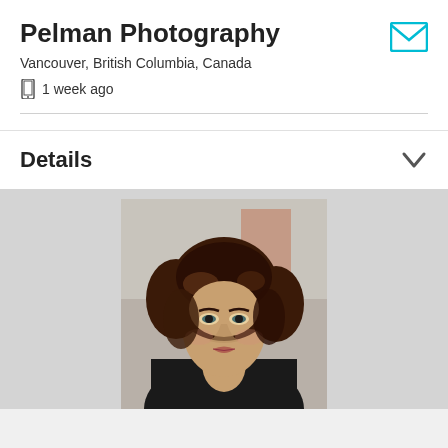Pelman Photography
Vancouver, British Columbia, Canada
1 week ago
Details
[Figure (photo): Portrait photograph of a woman with dark wavy/curly hair, wearing dark clothing, looking at the camera. Outdoor setting with blurred background.]